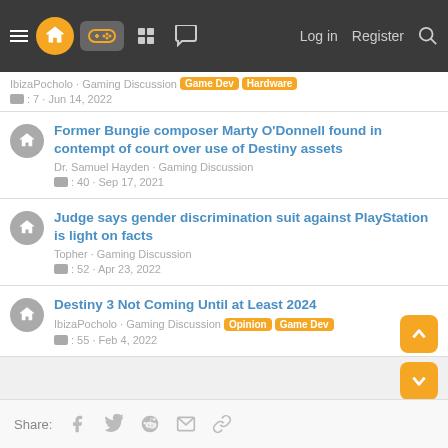Navigation bar with menu, logo, gaming icon, forum icons, Log in, Register, Search
IbizaPocholo · Gaming Discussion [Game Dev] [Hardware] : 7 · Jun 14, 2022
Former Bungie composer Marty O'Donnell found in contempt of court over use of Destiny assets — Dr. Samuel Hayden · Gaming Discussion : 40 · Sep 17, 2021
Judge says gender discrimination suit against PlayStation is light on facts — Topher · Gaming Discussion : 52 · Apr 23, 2022
Destiny 3 Not Coming Until at Least 2024 — IbizaPocholo · Gaming Discussion [Opinion] [Game Dev] : 55 · Feb 4, 2022
Share: (facebook) (twitter) (reddit) (email) (link)